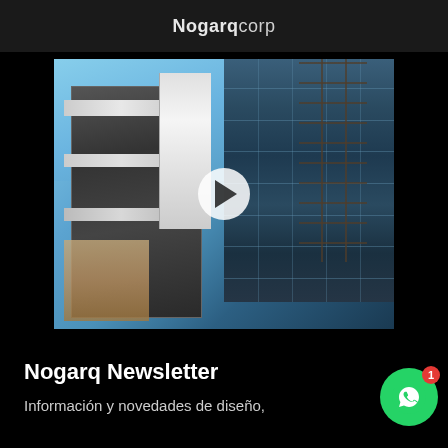Nogarqcorp
[Figure (photo): Construction photo of a modern glass curtain-wall building facade shot from below, showing horizontal concrete slabs, a white vertical accent panel, scaffolding on the right side, and blue sky. A white play button overlay is centered on the image.]
Nogarq Newsletter
Información y novedades de diseño,